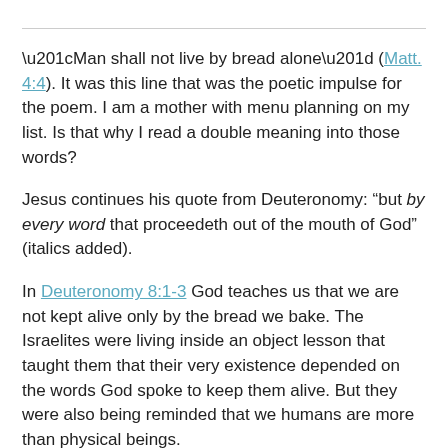“Man shall not live by bread alone” (Matt. 4:4). It was this line that was the poetic impulse for the poem. I am a mother with menu planning on my list. Is that why I read a double meaning into those words?
Jesus continues his quote from Deuteronomy: “but by every word that proceedeth out of the mouth of God” (italics added).
In Deuteronomy 8:1-3 God teaches us that we are not kept alive only by the bread we bake. The Israelites were living inside an object lesson that taught them that their very existence depended on the words God spoke to keep them alive. But they were also being reminded that we humans are more than physical beings.
Israel lived in the wilderness on manna, angels’ food, bread from heaven, uncultivated by man, something foreign to them and difficult to label. So they called it manna–“What is it? a whatness.”